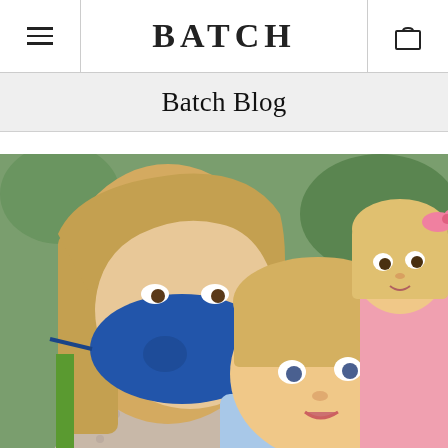BATCH
Batch Blog
[Figure (photo): A woman wearing a blue face mask takes a selfie with two young blonde girls. The woman has long blonde hair and wears a floral/polka dot patterned shirt. One girl is behind her with a pink bow in her hair, and a younger toddler girl is in the foreground. There is a green plant stalk visible on the left side.]